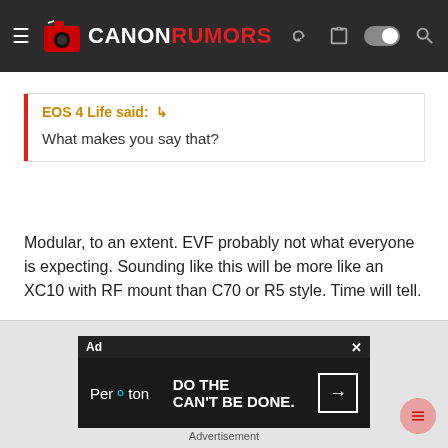Canon Rumors
EOS 4 Life said: ↩
What makes you say that?
Modular, to an extent. EVF probably not what everyone is expecting. Sounding like this will be more like an XC10 with RF mount than C70 or R5 style. Time will tell.
[Figure (screenshot): Peraton advertisement: 'DO THE CAN'T BE DONE.' with arrow button]
Advertisement